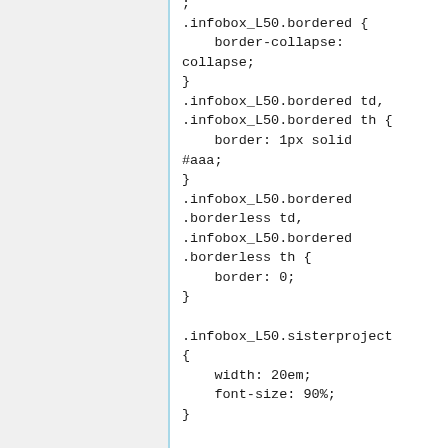;
.infobox_L50.bordered {
    border-collapse: collapse;
}
.infobox_L50.bordered td,
.infobox_L50.bordered th {
    border: 1px solid #aaa;
}
.infobox_L50.bordered .borderless td,
.infobox_L50.bordered .borderless th {
    border: 0;
}

.infobox_L50.sisterproject {
    width: 20em;
    font-size: 90%;
}

.infobox_L50.standard-talk {
    border: 1px solid